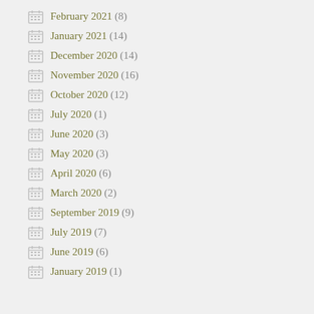February 2021 (8)
January 2021 (14)
December 2020 (14)
November 2020 (16)
October 2020 (12)
July 2020 (1)
June 2020 (3)
May 2020 (3)
April 2020 (6)
March 2020 (2)
September 2019 (9)
July 2019 (7)
June 2019 (6)
January 2019 (1)